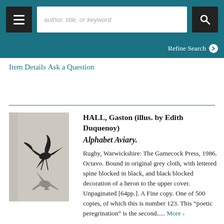author, title, or keyword [search bar] Refine Search
Item Details
Ask a Question
[Figure (photo): Grey cloth-bound book with black blocked heron decoration on cover, titled Alphabet Aviary, standing upright]
HALL, Gaston (illus. by Edith Duquenoy)
Alphabet Aviary.
Rugby, Warwickshire: The Gamecock Press, 1986. Octavo. Bound in original grey cloth, with lettered spine blocked in black, and black blocked decoration of a heron to the upper cover. Unpaginated [64pp.]. A Fine copy. One of 500 copies, of which this is number 123. This “poetic peregrination” is the second..... More >